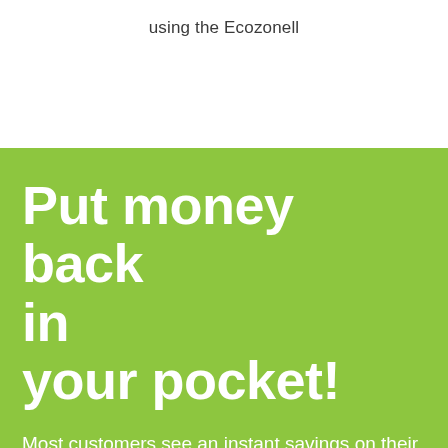using the Ecozonell
Put money back in your pocket!
Most customers see an instant savings on their first month of using Ecozonell